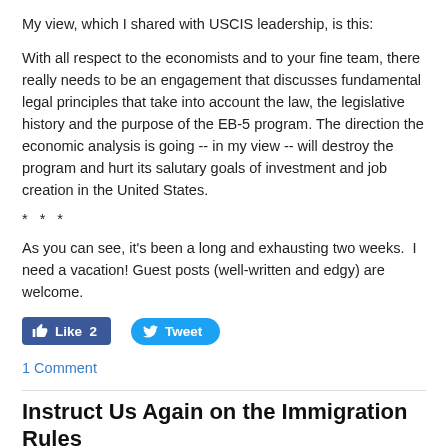My view, which I shared with USCIS leadership, is this:
With all respect to the economists and to your fine team, there really needs to be an engagement that discusses fundamental legal principles that take into account the law, the legislative history and the purpose of the EB-5 program. The direction the economic analysis is going -- in my view -- will destroy the program and hurt its salutary goals of investment and job creation in the United States.
* * *
As you can see, it's been a long and exhausting two weeks.  I need a vacation! Guest posts (well-written and edgy) are welcome.
Like 2   Tweet
1 Comment
Instruct Us Again on the Immigration Rules
5/5/2012   0 Comments